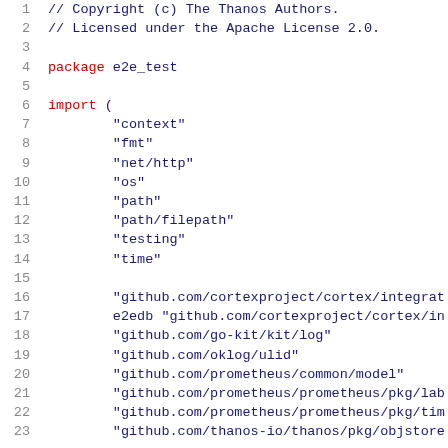[Figure (screenshot): Source code snippet in Go language showing copyright header, package declaration, and import block with standard library and third-party packages including context, fmt, net/http, os, path, path/filepath, testing, time, and various github.com packages (cortexproject/cortex, go-kit/kit/log, oklog/ulid, prometheus/common/model, prometheus/prometheus/pkg/lab, prometheus/prometheus/pkg/tim, thanos-io/thanos/pkg/objstore). Line numbers 1-23 visible.]